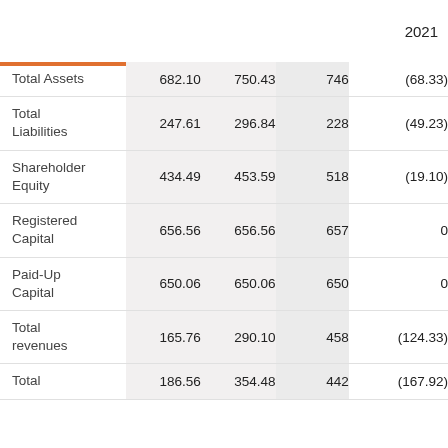|  |  |  |  | 2021 |
| --- | --- | --- | --- | --- |
| Total Assets | 682.10 | 750.43 | 746 | (68.33) |
| Total Liabilities | 247.61 | 296.84 | 228 | (49.23) |
| Shareholder Equity | 434.49 | 453.59 | 518 | (19.10) |
| Registered Capital | 656.56 | 656.56 | 657 | 0 |
| Paid-Up Capital | 650.06 | 650.06 | 650 | 0 |
| Total revenues | 165.76 | 290.10 | 458 | (124.33) |
| Total | 186.56 | 354.48 | 442 | (167.92) |